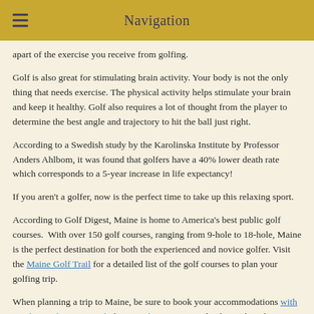Navigation
apart of the exercise you receive from golfing.
Golf is also great for stimulating brain activity. Your body is not the only thing that needs exercise. The physical activity helps stimulate your brain and keep it healthy. Golf also requires a lot of thought from the player to determine the best angle and trajectory to hit the ball just right.
According to a Swedish study by the Karolinska Institute by Professor Anders Ahlbom, it was found that golfers have a 40% lower death rate which corresponds to a 5-year increase in life expectancy!
If you aren't a golfer, now is the perfect time to take up this relaxing sport.
According to Golf Digest, Maine is home to America's best public golf courses.  With over 150 golf courses, ranging from 9-hole to 18-hole, Maine is the perfect destination for both the experienced and novice golfer. Visit the Maine Golf Trail for a detailed list of the golf courses to plan your golfing trip.
When planning a trip to Maine, be sure to book your accommodations with Sands By The Sea Motel, this award-winning motel is located on the coastline of southern Maine. With amazing views, luxurious suites and